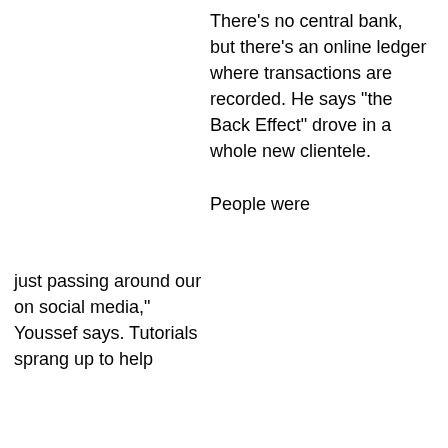There's no central bank, but there's an online ledger where transactions are recorded. He says "the Back Effect" drove in a whole new clientele.
People were just passing around our on social media," Youssef says. Tutorials sprang up to help